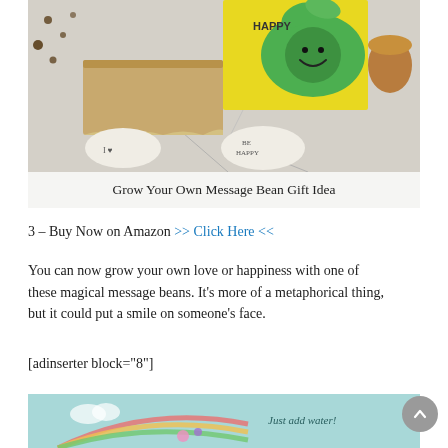[Figure (photo): Photo of a Message Bean gift set showing a wooden box with a yellow 'Be Happy' branded box, two white bean-shaped objects inscribed with 'I ♥' and 'BE HAPPY', soil scattered nearby, and a cork stopper on a light surface.]
Grow Your Own Message Bean Gift Idea
3 – Buy Now on Amazon >> Click Here <<
You can now grow your own love or happiness with one of these magical message beans. It's more of a metaphorical thing, but it could put a smile on someone's face.
[adinserter block="8"]
[Figure (photo): Partial photo of a colorful children's gift box with a rainbow and cloud design, text reading 'Just add water!' visible on turquoise/mint background.]